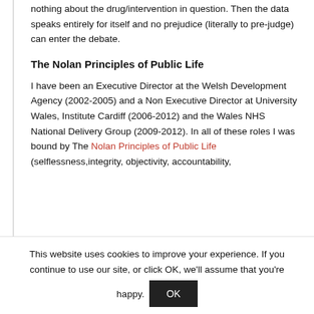nothing about the drug/intervention in question. Then the data speaks entirely for itself and no prejudice (literally to pre-judge) can enter the debate.
The Nolan Principles of Public Life
I have been an Executive Director at the Welsh Development Agency (2002-2005) and a Non Executive Director at University Wales, Institute Cardiff (2006-2012) and the Wales NHS National Delivery Group (2009-2012). In all of these roles I was bound by The Nolan Principles of Public Life (selflessness,integrity, objectivity, accountability,
This website uses cookies to improve your experience. If you continue to use our site, or click OK, we'll assume that you're happy.